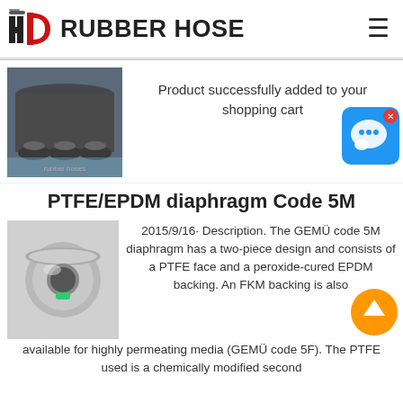HD RUBBER HOSE
[Figure (photo): Bundled black rubber hoses/tubes]
Product successfully added to your shopping cart
[Figure (photo): Chat/support button icon (blue speech bubble)]
PTFE/EPDM diaphragm Code 5M
[Figure (photo): Stainless steel diaphragm valve fitting with green element]
2015/9/16· Description. The GEMÜ code 5M diaphragm has a two-piece design and consists of a PTFE face and a peroxide-cured EPDM backing. An FKM backing is also available for highly permeating media (GEMÜ code 5F). The PTFE used is a chemically modified second
[Figure (other): Orange circular scroll-to-top button with upward arrow]